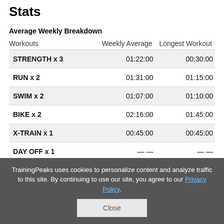Stats
Average Weekly Breakdown
| Workouts | Weekly Average | Longest Workout |
| --- | --- | --- |
| STRENGTH x 3 | 01:22:00 | 00:30:00 |
| RUN x 2 | 01:31:00 | 01:15:00 |
| SWIM x 2 | 01:07:00 | 01:10:00 |
| BIKE x 2 | 02:16:00 | 01:45:00 |
| X-TRAIN x 1 | 00:45:00 | 00:45:00 |
| DAY OFF x 1 | — — | — — |
TrainingPeaks uses cookies to personalize content and analyze traffic to this site. By continuing to use our site, you agree to our Privacy Policy.